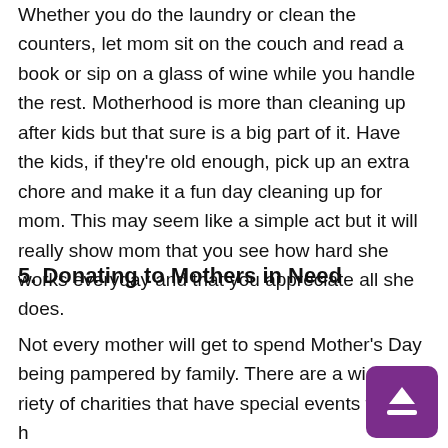Whether you do the laundry or clean the counters, let mom sit on the couch and read a book or sip on a glass of wine while you handle the rest. Motherhood is more than cleaning up after kids but that sure is a big part of it. Have the kids, if they're old enough, pick up an extra chore and make it a fun day cleaning up for mom. This may seem like a simple act but it will really show mom that you see how hard she works everyday and that you appreciate all she does.
5. Donating to Mothers in Need
Not every mother will get to spend Mother's Day being pampered by family. There are a wide variety of charities that have special events to give h...